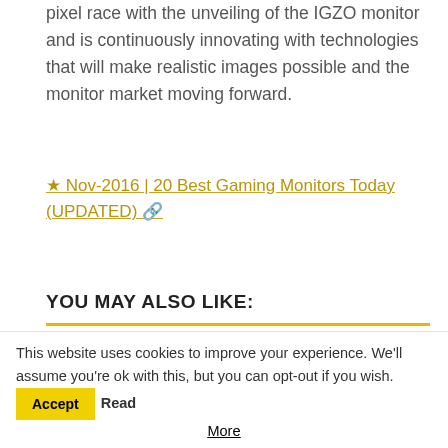pixel race with the unveiling of the IGZO monitor and is continuously innovating with technologies that will make realistic images possible and the monitor market moving forward.
★ Nov-2016 | 20 Best Gaming Monitors Today (UPDATED) 🔗
YOU MAY ALSO LIKE:
[Figure (photo): Dark gaming image with fire and armor-clad figure, labeled GAMING in top right]
This website uses cookies to improve your experience. We'll assume you're ok with this, but you can opt-out if you wish. Accept Read More